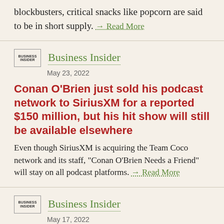blockbusters, critical snacks like popcorn are said to be in short supply. → Read More
[Figure (logo): Business Insider logo]
Business Insider
May 23, 2022
Conan O'Brien just sold his podcast network to SiriusXM for a reported $150 million, but his hit show will still be available elsewhere
Even though SiriusXM is acquiring the Team Coco network and its staff, "Conan O'Brien Needs a Friend" will stay on all podcast platforms. → Read More
[Figure (logo): Business Insider logo]
Business Insider
May 17, 2022
Netflix lays off 'around 150 employees' across